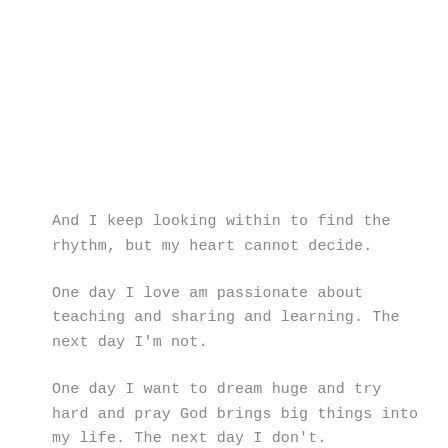And I keep looking within to find the rhythm, but my heart cannot decide.
One day I love am passionate about teaching and sharing and learning. The next day I'm not.
One day I want to dream huge and try hard and pray God brings big things into my life. The next day I don't.